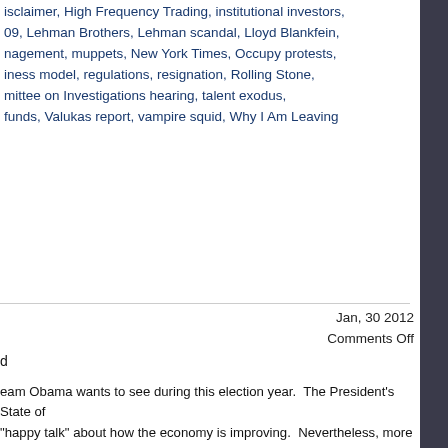disclaimer, High Frequency Trading, institutional investors,
09, Lehman Brothers, Lehman scandal, Lloyd Blankfein,
nagement, muppets, New York Times, Occupy protests,
iness model, regulations, resignation, Rolling Stone,
mittee on Investigations hearing, talent exodus,
funds, Valukas report, vampire squid, Why I Am Leaving
Jan, 30 2012
Comments Off
d
eam Obama wants to see during this election year.  The President's State of "happy talk" about how the economy is improving.  Nevertheless, more than eir concerns that we might be headed back into another period of at least six
h Institute (ECRI) predicted that the United States would fall back into weekly leading index has been showing small increments of improvement, sibility of a relapse.  Take a look at the chart which accompanied the of The Wall Street Journal.  Here are some of Mr. Gongloff's observations:
n a bit, to 122.8 from 123.3 the week before, but that's still among the